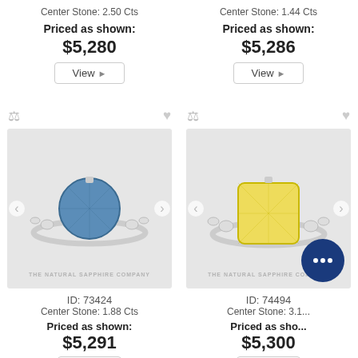Center Stone: 2.50 Cts
Priced as shown:
$5,280
View
Center Stone: 1.44 Cts
Priced as shown:
$5,286
View
[Figure (photo): Blue sapphire ring with round center stone and side diamonds, silver band, ID 73424]
ID: 73424
Center Stone: 1.88 Cts
Priced as shown:
$5,291
[Figure (photo): Yellow sapphire ring with cushion cut center stone and side diamonds, silver band, ID 74494, with chat bubble overlay partially covering]
ID: 74494
Center Stone: 3.1...
Priced as sho...
$5,300